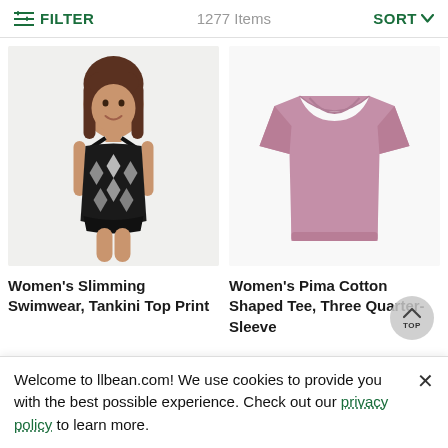FILTER   1277 Items   SORT
[Figure (photo): Woman wearing black and white patterned tankini swimsuit top]
[Figure (photo): Pink/mauve long-sleeve women's tee shirt on white background]
Women's Slimming Swimwear, Tankini Top Print
Women's Pima Cotton Shaped Tee, Three Quarter-Sleeve
Welcome to llbean.com! We use cookies to provide you with the best possible experience. Check out our privacy policy to learn more.